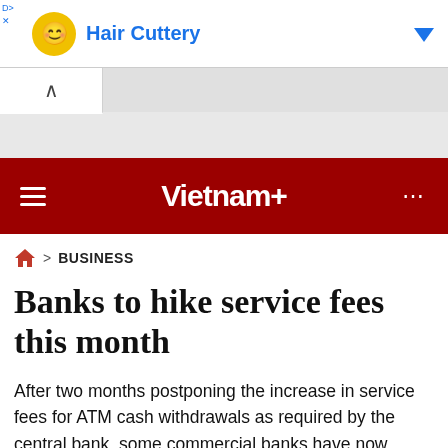[Figure (screenshot): Advertisement banner showing Hair Cuttery logo with yellow circle emoji, blue text 'Hair Cuttery', a blue downward arrow, and small 'D' and 'X' close controls at top-left.]
Vietnam+
BUSINESS
Banks to hike service fees this month
After two months postponing the increase in service fees for ATM cash withdrawals as required by the central bank, some commercial banks have now resumed the plan, announcing that a new service fee framework will apply from the middle of this month.